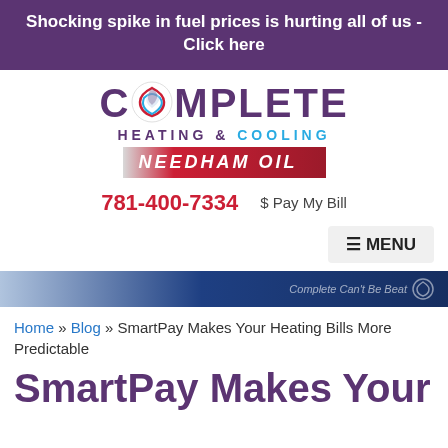Shocking spike in fuel prices is hurting all of us - Click here
[Figure (logo): Complete Heating & Cooling / Needham Oil company logo with swirl icon]
781-400-7334   $ Pay My Bill
≡ MENU
[Figure (infographic): Blue promotional banner strip with text 'Complete Can't Be Beat' and swirl icon]
Home » Blog » SmartPay Makes Your Heating Bills More Predictable
SmartPay Makes Your